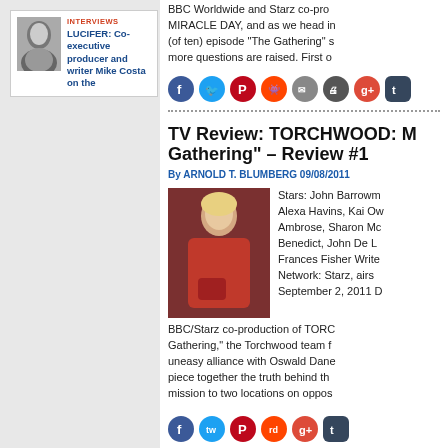[Figure (other): Interview card with photo of Mike Costa and text: INTERVIEWS / LUCIFER: Co-executive producer and writer Mike Costa on the]
BBC Worldwide and Starz co-pro MIRACLE DAY, and as we head in (of ten) episode "The Gathering" s more questions are raised. First o
[Figure (other): Social sharing icons: Facebook, Twitter, Pinterest, Reddit, Email, Print, Google+, Tumblr]
TV Review: TORCHWOOD: M Gathering" – Review #1
By ARNOLD T. BLUMBERG 09/08/2011
[Figure (photo): Photo of a woman with blonde hair wearing a red jacket, carrying a red handbag]
Stars: John Barrowm Alexa Havins, Kai Ow Ambrose, Sharon Mc Benedict, John De L Frances Fisher Write Network: Starz, airs September 2, 2011 BBC/Starz co-production of TORC Gathering," the Torchwood team f uneasy alliance with Oswald Dane piece together the truth behind th mission to two locations on oppos
[Figure (other): Bottom social sharing icons: Facebook, Twitter, Pinterest, Reddit, Google+, Tumblr]